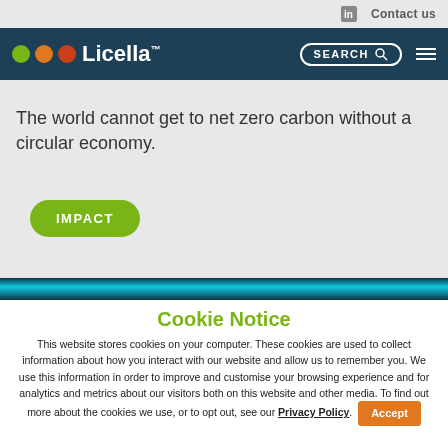Contact us
[Figure (logo): Licella logo with three colored circles (green, orange, red) and the Licella wordmark in white on dark teal navigation bar, with a SEARCH field and hamburger menu]
customers meet their net-zero carbon commitments
The world cannot get to net zero carbon without a circular economy.
IMPACT
Cookie Notice
This website stores cookies on your computer. These cookies are used to collect information about how you interact with our website and allow us to remember you. We use this information in order to improve and customise your browsing experience and for analytics and metrics about our visitors both on this website and other media. To find out more about the cookies we use, or to opt out, see our Privacy Policy.